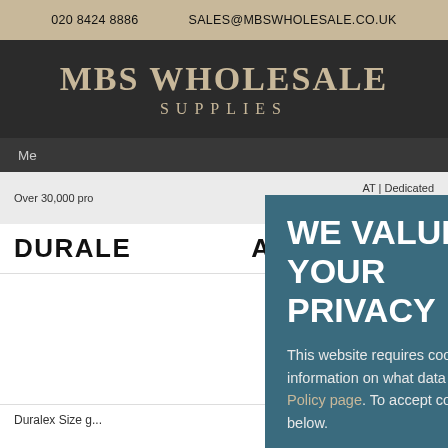020 8424 8886    SALES@MBSWHOLESALE.CO.UK
MBS WHOLESALE SUPPLIES
Me...
Over 30,000 pro...    AT | Dedicated Online Sales T...    and Public |
DURALE... AUCERS
WE VALUE YOUR PRIVACY

This website requires cookies to provide all of its features. For more information on what data is contained in the cookies, please see our Privacy Policy page. To accept cookies from this site, please click the Allow button below.
£62.42
Inc. VAT
Duralex Size g...    Pack of 72...